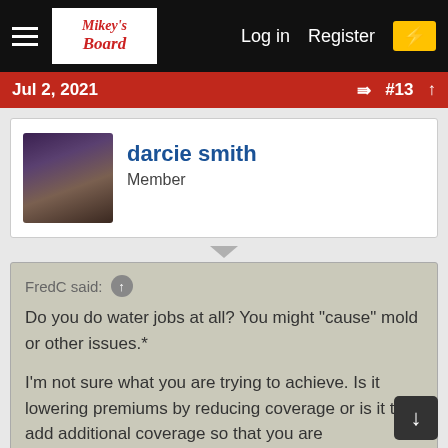Mikey's Board — Log in   Register
Jul 2, 2021   #13
darcie smith
Member
FredC said: ↑

Do you do water jobs at all? You might "cause" mold or other issues.*

I'm not sure what you are trying to achieve. Is it lowering premiums by reducing coverage or is it to add additional coverage so that you are covered on "pollution" issues. The latter would be CPL

Click to expand...
We do cat 1 and 2 water jobs. He wants additional coverage because what we have for the business doesn't cover anything like what the pollution insurance would cover.